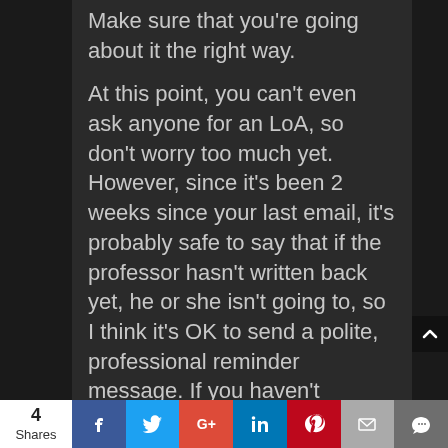Make sure that you're going about it the right way.

At this point, you can't even ask anyone for an LoA, so don't worry too much yet. However, since it's been 2 weeks since your last email, it's probably safe to say that if the professor hasn't written back yet, he or she isn't going to, so I think it's OK to send a polite, professional reminder message. If you haven't already, mention that you are very interested in pursuing your degree in Japan and are very interested in the professor's research, so you would like to study with him/her.
4 Shares | Facebook | Twitter | Google+ | LinkedIn | Pinterest | Email | Crown